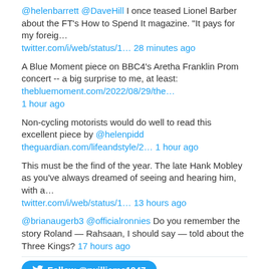@helenbarrett @DaveHill I once teased Lionel Barber about the FT's How to Spend It magazine. "It pays for my foreig… twitter.com/i/web/status/1… 28 minutes ago
A Blue Moment piece on BBC4's Aretha Franklin Prom concert -- a big surprise to me, at least: thebluemoment.com/2022/08/29/the… 1 hour ago
Non-cycling motorists would do well to read this excellent piece by @helenpidd theguardian.com/lifeandstyle/2… 1 hour ago
This must be the find of the year. The late Hank Mobley as you've always dreamed of seeing and hearing him, with a… twitter.com/i/web/status/1… 13 hours ago
@brianaugerb3 @officialronnies Do you remember the story Roland — Rahsaan, I should say — told about the Three Kings? 17 hours ago
Follow @rwilliams1947